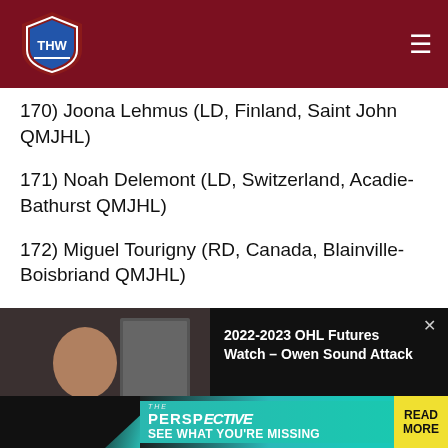[Figure (logo): THW (The Hockey Writers) shield logo in header]
170) Joona Lehmus (LD, Finland, Saint John QMJHL)
171) Noah Delemont (LD, Switzerland, Acadie-Bathurst QMJHL)
172) Miguel Tourigny (RD, Canada, Blainville-Boisbriand QMJHL)
[Figure (screenshot): Embedded video player showing a man speaking, with title '2022-2023 OHL Futures Watch – Owen Sound Attack' on black background, with X close button]
175) Zayde Wisdom (RC, Canada, Kingston OHL)
[Figure (infographic): Ad banner at bottom: THE PERSPECTIVE - SEE WHAT YOU'RE MISSING - READ MORE]